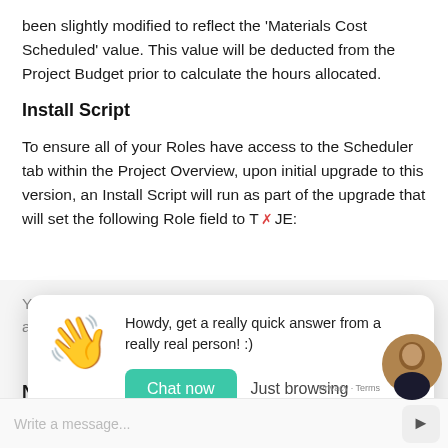been slightly modified to reflect the 'Materials Cost Scheduled' value. This value will be deducted from the Project Budget prior to calculate the hours allocated.
Install Script
To ensure all of your Roles have access to the Scheduler tab within the Project Overview, upon initial upgrade to this version, an Install Script will run as part of the upgrade that will set the following Role field to T✗JE:
[Figure (screenshot): Chat popup widget with waving hand emoji, message 'Howdy, get a really quick answer from a really real person! :)', with 'Chat now' (teal button) and 'Just browsing' options. Below is a chat input bar with 'Write a message...' placeholder and a send button. A customer support avatar photo appears in the bottom right corner with 'Privacy · Terms' text.]
A number of new fields have been added to the s... as part of this release. We recommend you add th... fields to your Page Layouts. If you are not using the